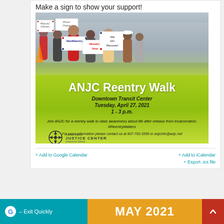Make a sign to show your support!
[Figure (photo): ANJC Reentry Walk event flyer showing group of people holding signs (#SecondChances, #SnowChance, #IamReentry, #BreakingAway, We Do Recover) with green banner and Alaska Native Justice Center logo. Event details: Downtown Transit Center, Tuesday, April 27, 2021, 1-3 p.m.]
+ Add to Google Calendar
+ Add to iCalendar
+ Export .ics file
G – Exit Quickly
MAY 2021